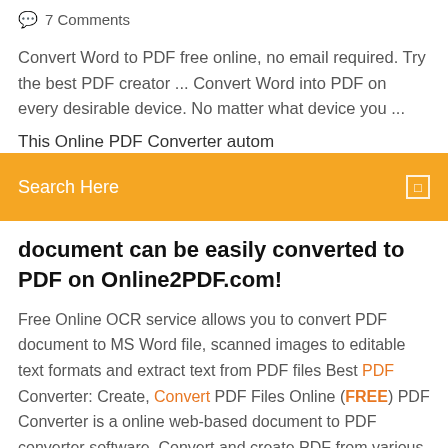💬 7 Comments
Convert Word to PDF free online, no email required. Try the best PDF creator ... Convert Word into PDF on every desirable device. No matter what device you ...
This Online PDF Converter automatically...
[Figure (screenshot): Orange search bar with white text 'Search Here' and a small square icon on the right]
document can be easily converted to PDF on Online2PDF.com!
Free Online OCR service allows you to convert PDF document to MS Word file, scanned images to editable text formats and extract text from PDF files Best PDF Converter: Create, Convert PDF Files Online (FREE) PDF Converter is a online web-based document to PDF converter software. Convert and create PDF from various types of files like Word DOC, Excel XLS, PowerPoint PPT. Convert PDF to Word - Online PDF to Word Converter. Convert PDF to Word online di...